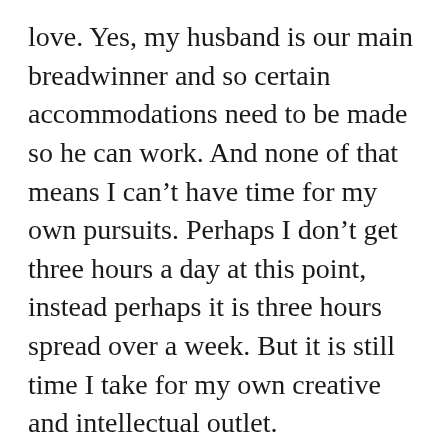love. Yes, my husband is our main breadwinner and so certain accommodations need to be made so he can work. And none of that means I can't have time for my own pursuits. Perhaps I don't get three hours a day at this point, instead perhaps it is three hours spread over a week. But it is still time I take for my own creative and intellectual outlet.

I invite you to do the same. To step away from the convenient excuses that life offers you to not shine, to not glow, to not be and become the person you are called to